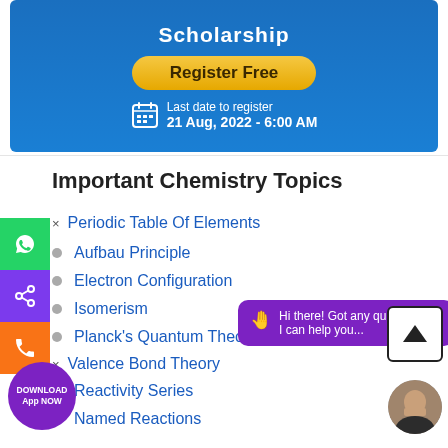[Figure (screenshot): Blue banner with 'Register Free' golden button and 'Last date to register 21 Aug, 2022 - 6:00 AM' text with calendar icon]
Important Chemistry Topics
Periodic Table Of Elements
Aufbau Principle
Electron Configuration
Isomerism
Planck's Quantum Theory
Valence Bond Theory
Reactivity Series
Named Reactions